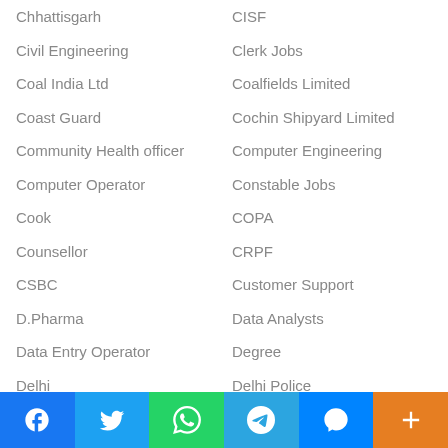Chhattisgarh
CISF
Civil Engineering
Clerk Jobs
Coal India Ltd
Coalfields Limited
Coast Guard
Cochin Shipyard Limited
Community Health officer
Computer Engineering
Computer Operator
Constable Jobs
Cook
COPA
Counsellor
CRPF
CSBC
Customer Support
D.Pharma
Data Analysts
Data Entry Operator
Degree
Delhi
Delhi Police
Diploma Apprentice
Diploma Holder